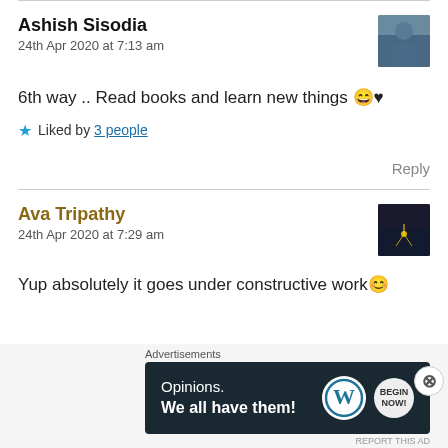Ashish Sisodia
24th Apr 2020 at 7:13 am
6th way .. Read books and learn new things 😄♥
★ Liked by 3 people
Reply
Ava Tripathy
24th Apr 2020 at 7:29 am
Yup absolutely it goes under constructive work 😊
Advertisements
Opinions. We all have them!